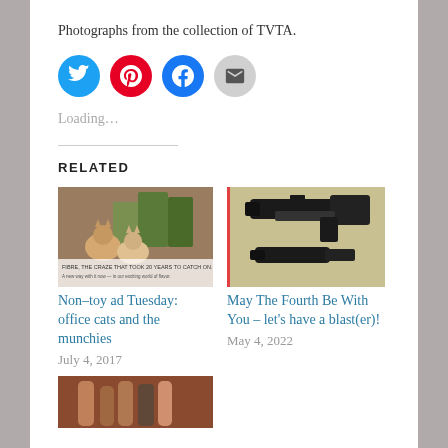Photographs from the collection of TVTA.
[Figure (infographic): Four social sharing buttons: Twitter (blue circle), Pinterest (red circle), Facebook (blue circle), Email (grey circle)]
Loading…
RELATED
[Figure (photo): Thumbnail image for 'Non-toy ad Tuesday: office cats and the munchies' post, showing cats and an advertisement with text 'FIBRE, THE CRAZE THAT TOOK 20 YEARS TO CATCH ON.']
Non-toy ad Tuesday: office cats and the munchies
July 4, 2017
[Figure (photo): Thumbnail image for 'May The Fourth Be With You – let's have a blast(er)!' post, showing a dark plastic blaster/gun toy with red border on left]
May The Fourth Be With You – let's have a blast(er)!
May 4, 2022
[Figure (photo): Partial thumbnail visible at bottom of page, brownish/reddish background]